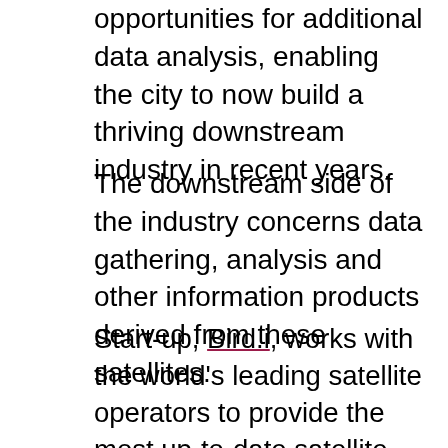opportunities for additional data analysis, enabling the city to now build a thriving downstream industry in recent years.
The downstream side of the industry concerns data gathering, analysis and other information products derived from these satellites.
Start-up, Bird.i, works with the world's leading satellite operators to provide the most up-to-date satellite imagery available.
Free satellite imagery platforms (such as Google Maps) can be up to 8 years out-of-date in places meaning many strategic business decisions are being based on often inaccurate data. By curating imagery from multiple providers, Bird.i offers assurance that